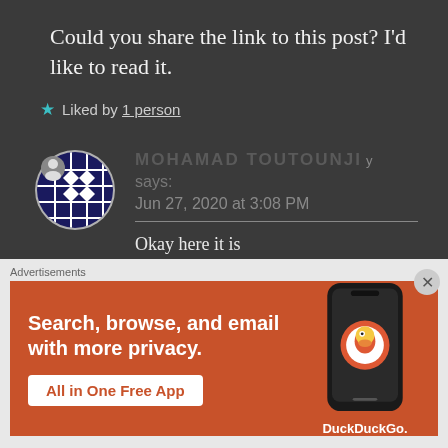Could you share the link to this post? I'd like to read it.
★ Liked by 1 person
MOHAMAD TOUTOUNJY says: Jun 27, 2020 at 3:08 PM
Okay here it is https://mymartialpath.wordpress
Advertisements
[Figure (other): DuckDuckGo advertisement banner: orange background with white text 'Search, browse, and email with more privacy.' and 'All in One Free App' button, phone mockup with DuckDuckGo logo on right]